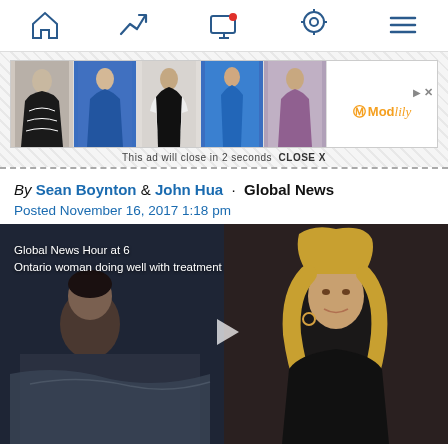[Figure (screenshot): Mobile app navigation bar with home, trending, notifications, location, and menu icons]
[Figure (screenshot): Modlily clothing advertisement banner showing five women in dresses with Modlily logo and close button]
This ad will close in 2 seconds  CLOSE X
By Sean Boynton & John Hua · Global News
Posted November 16, 2017 1:18 pm
[Figure (screenshot): Video thumbnail showing two women. Text overlay reads: Global News Hour at 6 / Ontario woman doing well with treatment denied t... Play button visible in center.]